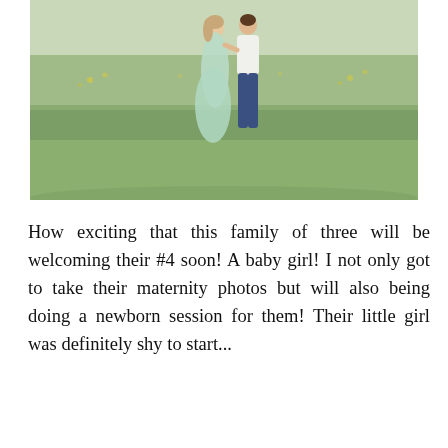[Figure (photo): Outdoor maternity photo of a couple standing in a green grassy field. A woman in a long light mint/green flowing dress faces a man in a white shirt and jeans. They appear to be looking at each other. Yellow wildflowers and trees are visible in the background.]
How exciting that this family of three will be welcoming their #4 soon! A baby girl! I not only got to take their maternity photos but will also being doing a newborn session for them! Their little girl was definitely shy to start...